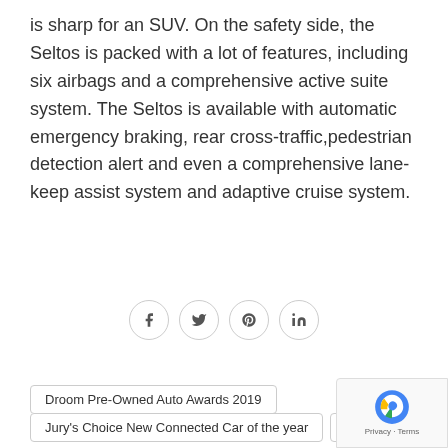is sharp for an SUV. On the safety side, the Seltos is packed with a lot of features, including six airbags and a comprehensive active suite system. The Seltos is available with automatic emergency braking, rear cross-traffic,pedestrian detection alert and even a comprehensive lane-keep assist system and adaptive cruise system.
[Figure (infographic): Four social media share buttons in circles: Facebook (f), Twitter (bird), Pinterest (P), LinkedIn (in)]
Droom Pre-Owned Auto Awards 2019
Jury's Choice New Connected Car of the year
Kia Seltos
← PREVIOUS POST